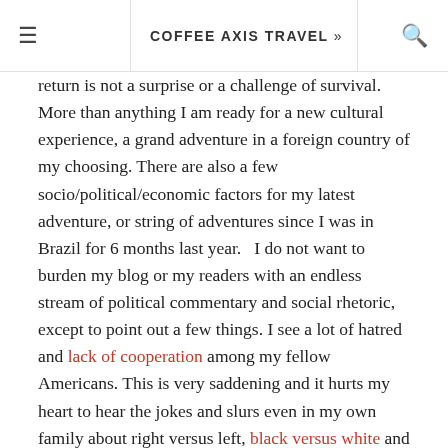COFFEE AXIS TRAVEL »
return is not a surprise or a challenge of survival. More than anything I am ready for a new cultural experience, a grand adventure in a foreign country of my choosing. There are also a few socio/political/economic factors for my latest adventure, or string of adventures since I was in Brazil for 6 months last year.   I do not want to burden my blog or my readers with an endless stream of political commentary and social rhetoric, except to point out a few things. I see a lot of hatred and lack of cooperation among my fellow Americans. This is very saddening and it hurts my heart to hear the jokes and slurs even in my own family about right versus left, black versus white and rich versus poor. I hope that as I leave for what will be an extended period of time, that my countrymen can find their hearts and free their souls from this vicious cycle of hate and anger we have become accustomed to. We are at a crossroads here in